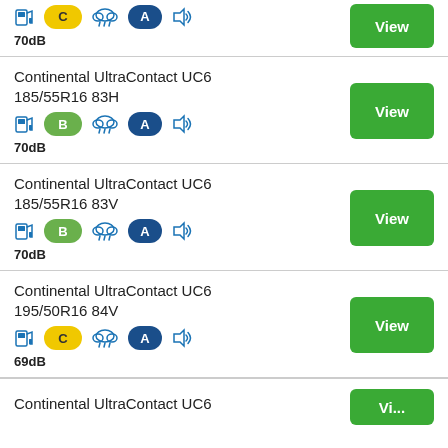70dB (partial top row, fuel C, rain, wet A)
Continental UltraContact UC6 185/55R16 83H, B, A, 70dB
Continental UltraContact UC6 185/55R16 83V, B, A, 70dB
Continental UltraContact UC6 195/50R16 84V, C, A, 69dB
Continental UltraContact UC6 (partial bottom row)